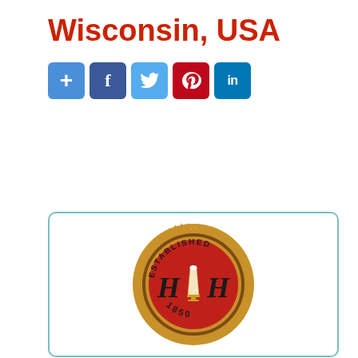Wisconsin, USA
[Figure (infographic): Social media share buttons: Add (+), Facebook (f), Twitter (bird), Pinterest (p), LinkedIn (in)]
[Figure (logo): Circular gold seal with sawtooth edge, red background, ornate H letters flanking a beer glass, text 'ESTABLISHED' around top arc and '1850' at bottom]